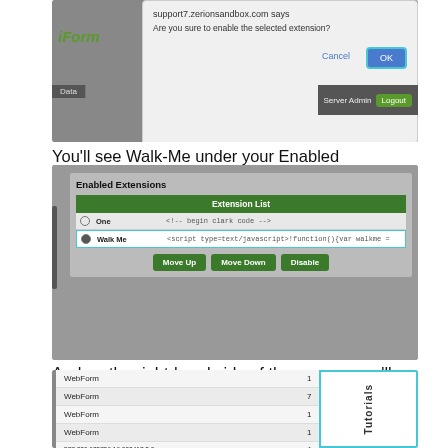[Figure (screenshot): Browser dialog box showing 'support7.zerionsandbox.com says: Are you sure to enable the selected extension?' with Cancel and OK buttons. Background shows iForm interface with Data tab and Server Admin/Logout buttons.]
You'll see Walk-Me under your Enabled Extensions.
[Figure (screenshot): Enabled Extensions panel showing Extension List with two rows: 'One' with <!-- begin clark code --> and 'Walk Me' with <script type=text/javascript>!function(){var walkme = highlighted in a cyan border. Move Up, Move Down, and Disable buttons at bottom.]
And on the right-hand side of the screen, you'll see the Walk-Me Tutorial tab where you can explore all the Walk-Me's.
[Figure (screenshot): WebForm list showing WebForm entries with numbers 1, 7, 1, 1 and a row showing 577.229.675756.16.002417.3.0 with value 1. On the right side is a Tutorials tab with cyan border.]